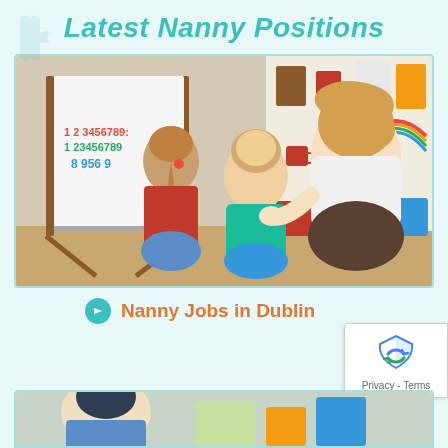Latest Nanny Positions
[Figure (photo): A woman (nanny) sitting on the floor with two young children in front of a whiteboard easel with colorful magnetic numbers. The scene is set in a bright playroom.]
➔ Nanny Jobs in Dublin
[Figure (photo): Partial view of another photo showing a person, likely another nanny-related image, cropped at the bottom of the page.]